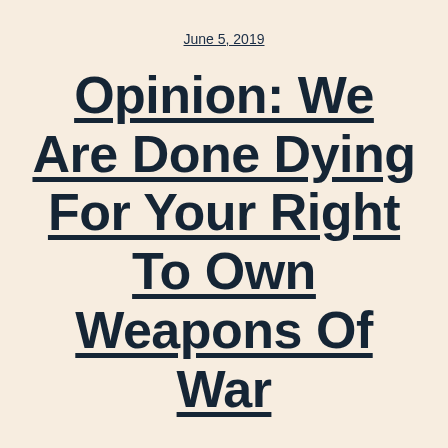June 5, 2019
Opinion: We Are Done Dying For Your Right To Own Weapons Of War